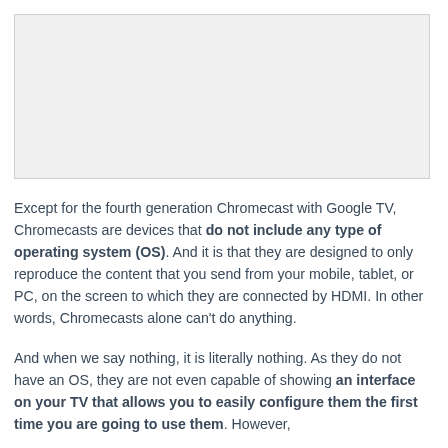[Figure (photo): Image placeholder area at the top of the page]
Except for the fourth generation Chromecast with Google TV, Chromecasts are devices that do not include any type of operating system (OS). And it is that they are designed to only reproduce the content that you send from your mobile, tablet, or PC, on the screen to which they are connected by HDMI. In other words, Chromecasts alone can't do anything.
And when we say nothing, it is literally nothing. As they do not have an OS, they are not even capable of showing an interface on your TV that allows you to easily configure them the first time you are going to use them. However,